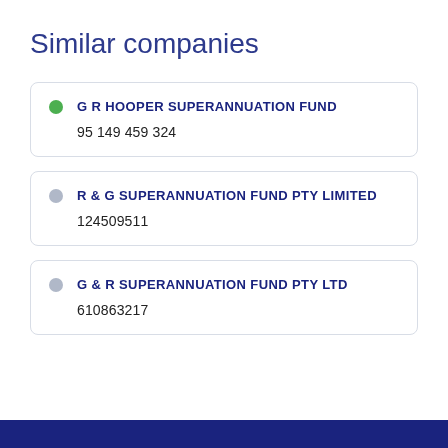Similar companies
G R HOOPER SUPERANNUATION FUND
95 149 459 324
R & G SUPERANNUATION FUND PTY LIMITED
124509511
G & R SUPERANNUATION FUND PTY LTD
610863217